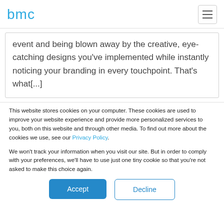bmc
event and being blown away by the creative, eye-catching designs you've implemented while instantly noticing your branding in every touchpoint. That's what[...]
This website stores cookies on your computer. These cookies are used to improve your website experience and provide more personalized services to you, both on this website and through other media. To find out more about the cookies we use, see our Privacy Policy.
We won't track your information when you visit our site. But in order to comply with your preferences, we'll have to use just one tiny cookie so that you're not asked to make this choice again.
Accept
Decline